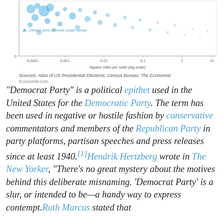[Figure (continuous-plot): Scatter plot showing Clinton wins in more urban areas. X-axis: Square miles per voter (log scale) from 0.0001 to 10. Y-axis: Percent Clinton vote. Blue circles of varying sizes scattered across the plot. Legend note: Clinton wins in more urban areas.]
Sources: Atlas of US Presidential Elections; Census Bureau; The Economist
Economist.com
“Democrat Party” is a political epithet used in the United States for the Democratic Party. The term has been used in negative or hostile fashion by conservative commentators and members of the Republican Party in party platforms, partisan speeches and press releases since at least 1940.[1]Hendrik Hertzberg wrote in The New Yorker, “There’s no great mystery about the motives behind this deliberate misnaming. ‘Democrat Party’ is a slur, or intended to be—a handy way to express contempt.Ruth Marcus stated that